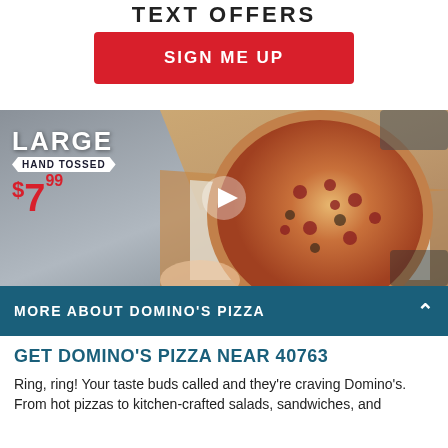TEXT OFFERS
SIGN ME UP
[Figure (photo): Domino's pizza in an open box held by a person, with text overlay: LARGE HAND TOSSED $7.99, and a video play button in the center.]
MORE ABOUT DOMINO'S PIZZA
GET DOMINO'S PIZZA NEAR 40763
Ring, ring! Your taste buds called and they're craving Domino's. From hot pizzas to kitchen-crafted salads, sandwiches, and more — only Domino's pizza shops near 40763 have it all. Find